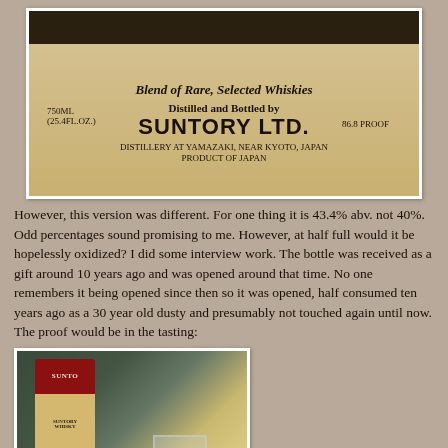[Figure (photo): Close-up photo of a Suntory whisky bottle label showing 'Blend of Rare, Selected Whiskies', '750ML (25.4FL.OZ.)', 'Distilled and Bottled by SUNTORY LTD.', '86.8 PROOF', 'DISTILLERY AT YAMAZAKI, NEAR KYOTO, JAPAN', 'PRODUCT OF JAPAN']
However, this version was different. For one thing it is 43.4% abv. not 40%. Odd percentages sound promising to me. However, at half full would it be hopelessly oxidized? I did some interview work. The bottle was received as a gift around 10 years ago and was opened around that time. No one remembers it being opened since then so it was opened, half consumed ten years ago as a 30 year old dusty and presumably not touched again until now. The proof would be in the tasting:
[Figure (photo): Photo of a Suntory whisky bottle with red top label reading 'SUNTO' visible, and a glass beside it on a table]